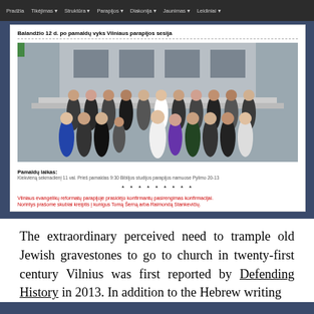Pradžia | Tikėjimas | Struktūra | Parapijos | Diakonija | Jaunimas | Leidiniai
Balandžio 12 d. po pamaldų vyks Vilniaus parapijos sesija
[Figure (photo): Group photo of congregation standing on church steps outdoors, winter clothing, large group of people]
Pamaldų laikas:
Kiekvieną sekmadienį 11 val. Prieš pamaldas 9:30 Biblijos studijos parapijos namuose Pylimo 20-13
* * * * * * * * *
Vilniaus evangelikų reformatų parapijoje prasidėjo konfirmantų pasirengimas konfirmacijai.
Norintys prašome skubiai kreiptis į kunigus Tomą Šerną arba Raimondą Stankevičių.
The extraordinary perceived need to trample old Jewish gravestones to go to church in twenty-first century Vilnius was first reported by Defending History in 2013. In addition to the Hebrew writing